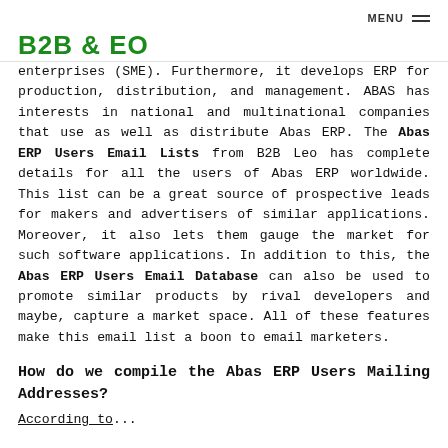MENU ≡ B2B CEO
enterprises (SME). Furthermore, it develops ERP for production, distribution, and management. ABAS has interests in national and multinational companies that use as well as distribute Abas ERP. The Abas ERP Users Email Lists from B2B Leo has complete details for all the users of Abas ERP worldwide. This list can be a great source of prospective leads for makers and advertisers of similar applications. Moreover, it also lets them gauge the market for such software applications. In addition to this, the Abas ERP Users Email Database can also be used to promote similar products by rival developers and maybe, capture a market space. All of these features make this email list a boon to email marketers.
How do we compile the Abas ERP Users Mailing Addresses?
According to...